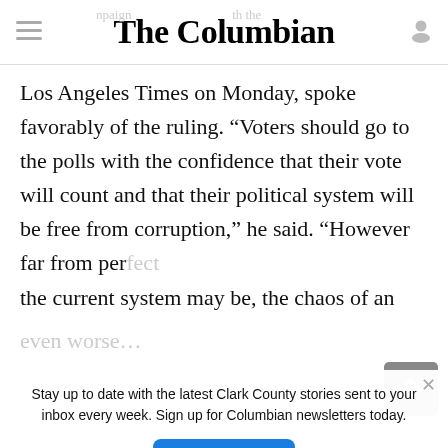The Columbian
Los Angeles Times on Monday, spoke favorably of the ruling. “Voters should go to the polls with the confidence that their vote will count and that their political system will be free from corruption,” he said. “However far from perfect the current system may be, the chaos of an
Stay up to date with the latest Clark County stories sent to your inbox every week. Sign up for Columbian newsletters today.
Sign up ›
There are SAS Fl...